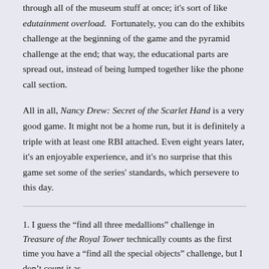through all of the museum stuff at once; it's sort of like edutainment overload.  Fortunately, you can do the exhibits challenge at the beginning of the game and the pyramid challenge at the end; that way, the educational parts are spread out, instead of being lumped together like the phone call section.
All in all, Nancy Drew: Secret of the Scarlet Hand is a very good game. It might not be a home run, but it is definitely a triple with at least one RBI attached. Even eight years later, it's an enjoyable experience, and it's no surprise that this game set some of the series' standards, which persevere to this day.
1. I guess the “find all three medallions” challenge in Treasure of the Royal Tower technically counts as the first time you have a “find all the special objects” challenge, but I don’t count it as